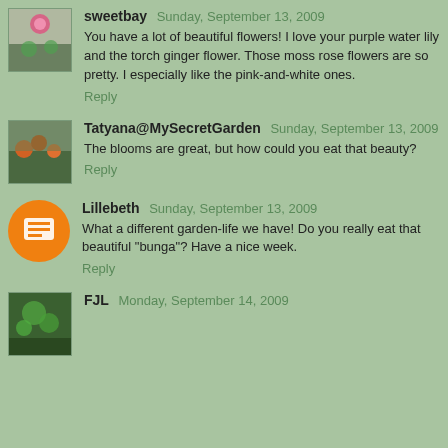sweetbay Sunday, September 13, 2009
You have a lot of beautiful flowers! I love your purple water lily and the torch ginger flower. Those moss rose flowers are so pretty. I especially like the pink-and-white ones.
Reply
Tatyana@MySecretGarden Sunday, September 13, 2009
The blooms are great, but how could you eat that beauty?
Reply
Lillebeth Sunday, September 13, 2009
What a different garden-life we have! Do you really eat that beautiful "bunga"? Have a nice week.
Reply
FJL Monday, September 14, 2009